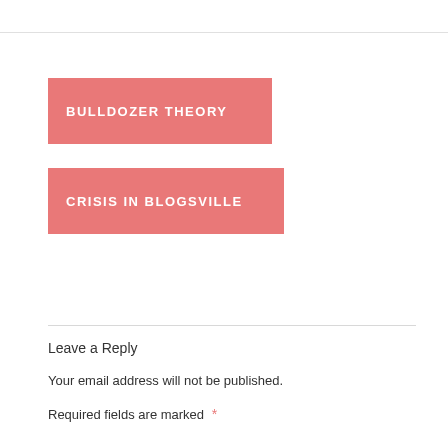BULLDOZER THEORY
CRISIS IN BLOGSVILLE
Leave a Reply
Your email address will not be published.
Required fields are marked *